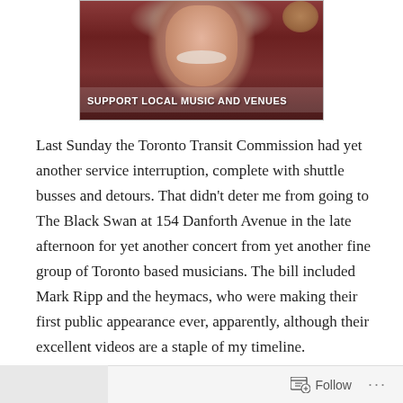[Figure (photo): Photo of an older man with white beard and mustache, wearing a casual shirt, with a chandelier in the background. White bold text overlay at bottom reads 'SUPPORT LOCAL MUSIC AND VENUES'.]
Last Sunday the Toronto Transit Commission had yet another service interruption, complete with shuttle busses and detours. That didn't deter me from going to The Black Swan at 154 Danforth Avenue in the late afternoon for yet another concert from yet another fine group of Toronto based musicians. The bill included Mark Ripp and the heymacs, who were making their first public appearance ever, apparently, although their excellent videos are a staple of my timeline.
Follow ...